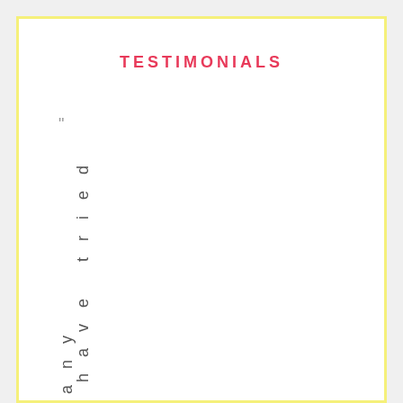TESTIMONIALS
" I have tried many